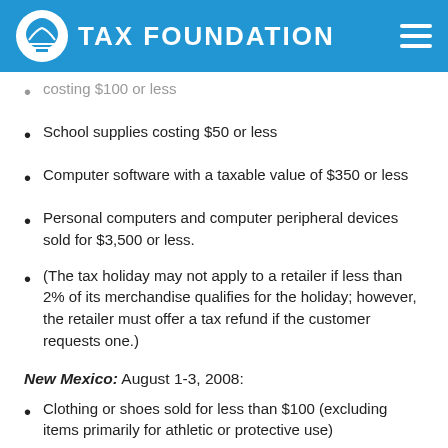TAX FOUNDATION
costing $100 or less
School supplies costing $50 or less
Computer software with a taxable value of $350 or less
Personal computers and computer peripheral devices sold for $3,500 or less.
(The tax holiday may not apply to a retailer if less than 2% of its merchandise qualifies for the holiday; however, the retailer must offer a tax refund if the customer requests one.)
New Mexico: August 1-3, 2008:
Clothing or shoes sold for less than $100 (excluding items primarily for athletic or protective use)